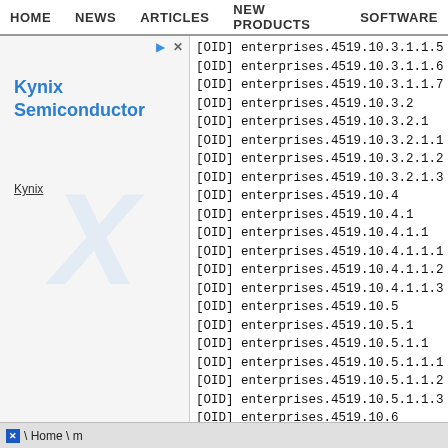HOME  NEWS  ARTICLES  NEW PRODUCTS  SOFTWARE
[Figure (other): Kynix Semiconductor advertisement banner with watermark logo and play/close buttons]
[OID] enterprises.4519.10.3.1.1.5
[OID] enterprises.4519.10.3.1.1.6
[OID] enterprises.4519.10.3.1.1.7
[OID] enterprises.4519.10.3.2
[OID] enterprises.4519.10.3.2.1
[OID] enterprises.4519.10.3.2.1.1
[OID] enterprises.4519.10.3.2.1.2
[OID] enterprises.4519.10.3.2.1.3
[OID] enterprises.4519.10.4
[OID] enterprises.4519.10.4.1
[OID] enterprises.4519.10.4.1.1
[OID] enterprises.4519.10.4.1.1.1
[OID] enterprises.4519.10.4.1.1.2
[OID] enterprises.4519.10.4.1.1.3
[OID] enterprises.4519.10.5
[OID] enterprises.4519.10.5.1
[OID] enterprises.4519.10.5.1.1
[OID] enterprises.4519.10.5.1.1.1
[OID] enterprises.4519.10.5.1.1.2
[OID] enterprises.4519.10.5.1.1.3
[OID] enterprises.4519.10.6
[OID] enterprises.4519.10.6.1
[OID] enterprises.4519.10.6.1.1
[OID] enterprises.4519.10.6.1.1.1
[OID] enterprises.4519.10.6.1.1.2
[OID] enterprises.4519.10.6.1.1.3
\ Home \ m